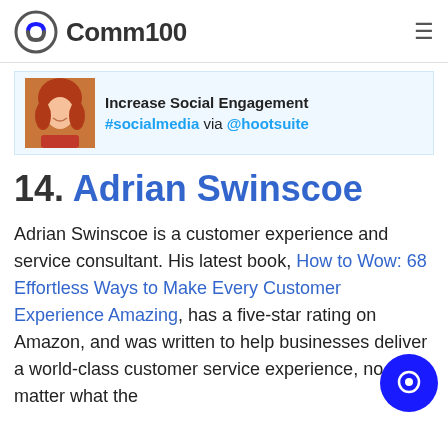Comm100
[Figure (screenshot): Social media post preview card showing a woman with red hair, text: Increase Social Engagement #socialmedia via @hootsuite]
14. Adrian Swinscoe
Adrian Swinscoe is a customer experience and service consultant. His latest book, How to Wow: 68 Effortless Ways to Make Every Customer Experience Amazing, has a five-star rating on Amazon, and was written to help businesses deliver a world-class customer service experience, no matter what the